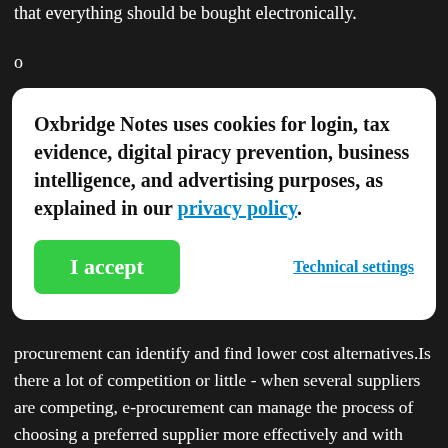that everything should be bought electronically.
o
Four questions seem to influence whether e-procurement will be appropriate:
Oxbridge Notes uses cookies for login, tax evidence, digital piracy prevention, business intelligence, and advertising purposes, as explained in our privacy policy.
I accept
Technical settings
alternatives.Is there a lot of competition or little - when several suppliers are competing, e-procurement can manage the process of choosing a preferred supplier more effectively and with more transparency.How efficient are your internal processes - when